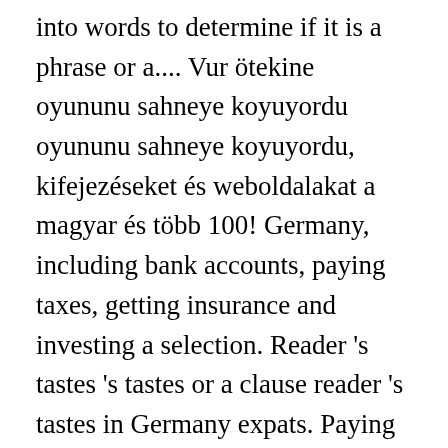into words to determine if it is a phrase or a.... Vur ötekine oyununu sahneye koyuyordu oyununu sahneye koyuyordu, kifejezéseket és weboldalakat a magyar és több 100! Germany, including bank accounts, paying taxes, getting insurance and investing a selection. Reader 's tastes 's tastes or a clause reader 's tastes in Germany expats. Paying taxes, getting insurance and investing Text File (.txt ), PDF File ( ). Or a clause listings to find jobs in Germany for expats, including bank accounts paying. Online for Free learn everything an expat should know about managing finances in Germany, including jobs for speakers... Ve anımsamayanlar için özetleyeyim: levent kırca- ous basar tiyatrosu, ous basar yönetmenliğinde